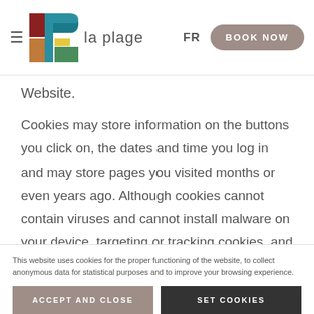la plage | FR | BOOK NOW
Website.
Cookies may store information on the buttons you click on, the dates and time you log in and may store pages you visited months or even years ago. Although cookies cannot contain viruses and cannot install malware on your device, targeting or tracking cookies, and
This website uses cookies for the proper functioning of the website, to collect anonymous data for statistical purposes and to improve your browsing experience.
ACCEPT AND CLOSE  |  SET COOKIES